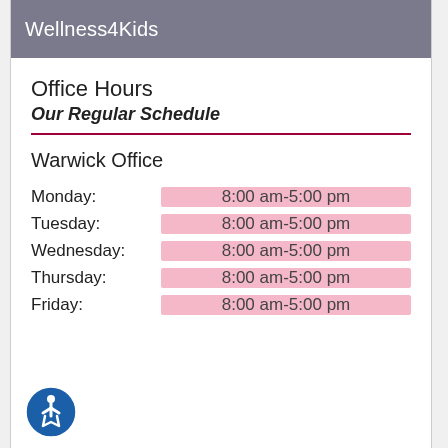Wellness4Kids
Office Hours
Our Regular Schedule
Warwick Office
| Day | Hours |
| --- | --- |
| Monday: | 8:00 am-5:00 pm |
| Tuesday: | 8:00 am-5:00 pm |
| Wednesday: | 8:00 am-5:00 pm |
| Thursday: | 8:00 am-5:00 pm |
| Friday: | 8:00 am-5:00 pm |